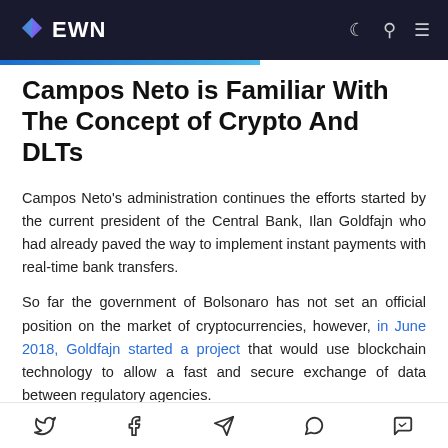EWN
Campos Neto is Familiar With The Concept of Crypto And DLTs
Campos Neto's administration continues the efforts started by the current president of the Central Bank, Ilan Goldfajn who had already paved the way to implement instant payments with real-time bank transfers.
So far the government of Bolsonaro has not set an official position on the market of cryptocurrencies, however, in June 2018, Goldfajn started a project that would use blockchain technology to allow a fast and secure exchange of data between regulatory agencies.
Social share icons: Twitter, Facebook, Telegram, WhatsApp, Messenger